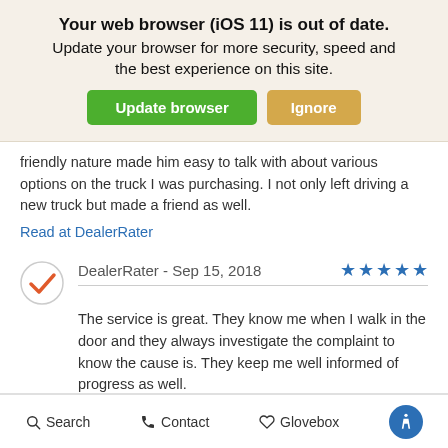Your web browser (iOS 11) is out of date. Update your browser for more security, speed and the best experience on this site.
Update browser | Ignore
friendly nature made him easy to talk with about various options on the truck I was purchasing. I not only left driving a new truck but made a friend as well.
Read at DealerRater
DealerRater - Sep 15, 2018
The service is great. They know me when I walk in the door and they always investigate the complaint to know the cause is. They keep me well informed of progress as well.
Read at DealerRater
Search  Contact  Glovebox  Accessibility